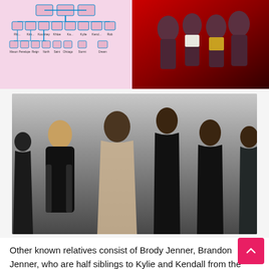[Figure (organizational-chart): Kardashian-Jenner family tree diagram with photos and connecting blue lines on pink background]
[Figure (photo): Group photo of Kardashian-Jenner women at a red carpet event]
[Figure (photo): Promotional photo of Kardashian-Jenner sisters in black and sparkly outfits against grey background]
Other known relatives consist of Brody Jenner, Brandon Jenner, who are half siblings to Kylie and Kendall from the marriage between Caitlyn